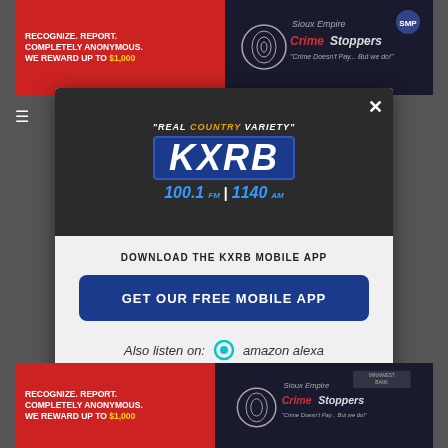[Figure (screenshot): Top banner advertisement for Sioux Empire Crime Stoppers: red left panel with text 'RECOGNIZE. REPORT. COMPLETELY ANONYMOUS. WE REWARD UP TO $1,000' and dark right panel with Sioux Empire CrimeStoppers logo and SMP badge]
[Figure (logo): KXRB Radio modal popup with dark header showing tagline 'REAL COUNTRY VARIETY', KXRB logo in blue box, and frequency 100.1 FM | 1140 AM]
DOWNLOAD THE KXRB MOBILE APP
GET OUR FREE MOBILE APP
Also listen on: amazon alexa
[Figure (screenshot): Bottom banner advertisement for Sioux Empire Crime Stoppers with Minnwest Bank sponsorship: red left panel 'RECOGNIZE. REPORT. COMPLETELY ANONYMOUS. WE REWARD UP TO $1,000' and dark right panel with CrimeStoppers logo]